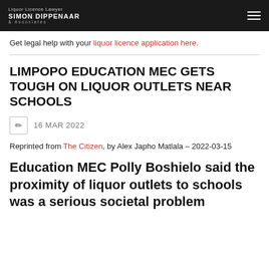Liquor Licence Lawyer SIMON DIPPENAAR & Associates
Get legal help with your liquor licence application here.
LIMPOPO EDUCATION MEC GETS TOUGH ON LIQUOR OUTLETS NEAR SCHOOLS
16 MAR 2022
Reprinted from The Citizen, by Alex Japho Matlala – 2022-03-15
Education MEC Polly Boshielo said the proximity of liquor outlets to schools was a serious societal problem